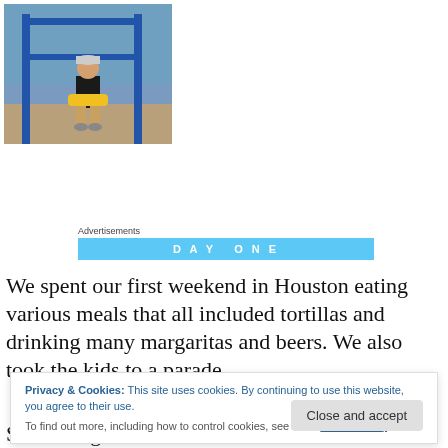[Figure (photo): A person sitting on playground equipment outdoors, wearing a cap and dark shirt, with blue rails visible in the background.]
Advertisements
[Figure (infographic): Cyan/blue advertisement banner with text 'DAY ONE']
We spent our first weekend in Houston eating various meals that all included tortillas and drinking many margaritas and beers. We also took the kids to a parade
Privacy & Cookies: This site uses cookies. By continuing to use this website, you agree to their use.
To find out more, including how to control cookies, see here: Cookie Policy
Something he can add to his resume when he's